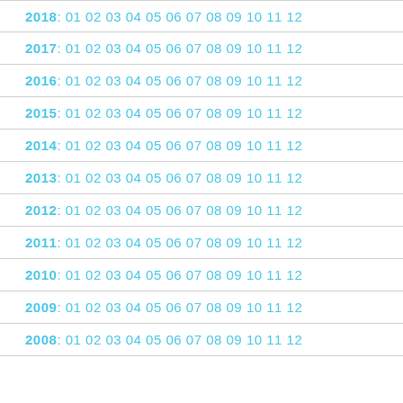2018: 01 02 03 04 05 06 07 08 09 10 11 12
2017: 01 02 03 04 05 06 07 08 09 10 11 12
2016: 01 02 03 04 05 06 07 08 09 10 11 12
2015: 01 02 03 04 05 06 07 08 09 10 11 12
2014: 01 02 03 04 05 06 07 08 09 10 11 12
2013: 01 02 03 04 05 06 07 08 09 10 11 12
2012: 01 02 03 04 05 06 07 08 09 10 11 12
2011: 01 02 03 04 05 06 07 08 09 10 11 12
2010: 01 02 03 04 05 06 07 08 09 10 11 12
2009: 01 02 03 04 05 06 07 08 09 10 11 12
2008: 01 02 03 04 05 06 07 08 09 10 11 12